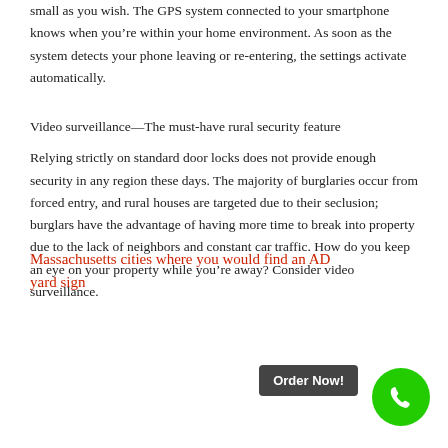small as you wish. The GPS system connected to your smartphone knows when you're within your home environment. As soon as the system detects your phone leaving or re-entering, the settings activate automatically.
Video surveillance—The must-have rural security feature
Relying strictly on standard door locks does not provide enough security in any region these days. The majority of burglaries occur from forced entry, and rural houses are targeted due to their seclusion; burglars have the advantage of having more time to break into property due to the lack of neighbors and constant car traffic. How do you keep an eye on your property while you're away? Consider video surveillance.
Massachusetts cities where you would find an ADT yard sign